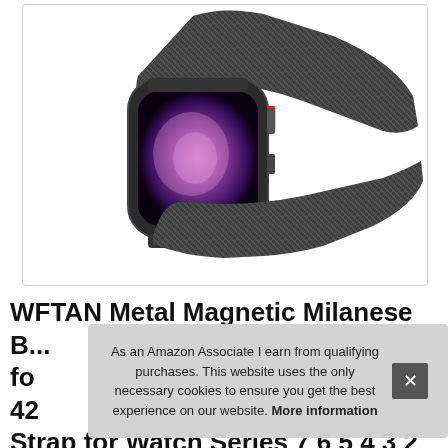[Figure (photo): Product photo of a dark/space gray Apple Watch with a metallic Milanese mesh loop band, displayed against a white background inside a rounded-corner border box.]
WFTAN Metal Magnetic Milanese Band for Apple Watch Band 38mm 40mm 41mm 42mm 44mm 45mm Stainless Steel Strap for Watch Series 7 6 5 4 3 2 1 SE
As an Amazon Associate I earn from qualifying purchases. This website uses the only necessary cookies to ensure you get the best experience on our website. More information